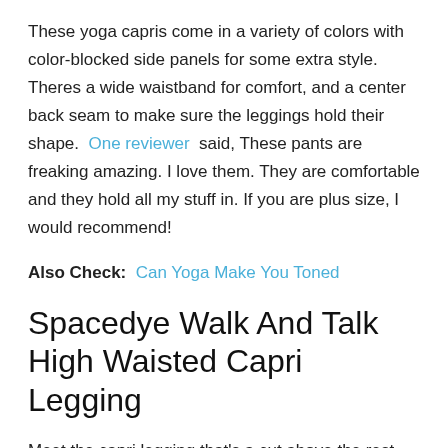These yoga capris come in a variety of colors with color-blocked side panels for some extra style. Theres a wide waistband for comfort, and a center back seam to make sure the leggings hold their shape. One reviewer said, These pants are freaking amazing. I love them. They are comfortable and they hold all my stuff in. If you are plus size, I would recommend!
Also Check: Can Yoga Make You Toned
Spacedye Walk And Talk High Waisted Capri Legging
Meet the capri legging that's a cut above the rest. Featuring our signature 5" high waistband and a flattering low calf length in the most buttery soft fabric out there.